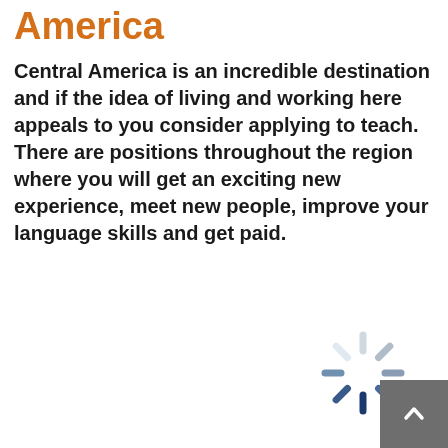America
Central America is an incredible destination and if the idea of living and working here appeals to you consider applying to teach. There are positions throughout the region where you will get an exciting new experience, meet new people, improve your language skills and get paid.
[Figure (other): Loading spinner / activity indicator graphic with radiating lines in varying shades of blue and grey, partially overlapping a grey back-to-top button with an upward chevron arrow.]